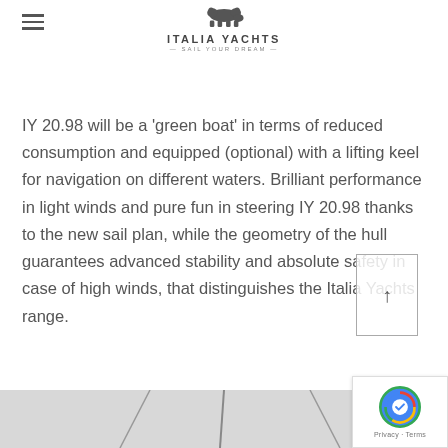ITALIA YACHTS — SAIL YOUR DREAM
IY 20.98 will be a 'green boat' in terms of reduced consumption and equipped (optional) with a lifting keel for navigation on different waters. Brilliant performance in light winds and pure fun in steering IY 20.98 thanks to the new sail plan, while the geometry of the hull guarantees advanced stability and absolute safety in case of high winds, that distinguishes the Italia Yachts range.
[Figure (other): Scroll-to-top button with upward arrow, bordered box]
[Figure (photo): Bottom portion of page showing yacht deck/mast photograph in grayscale]
[Figure (other): Google reCAPTCHA badge with logo and Privacy - Terms text]